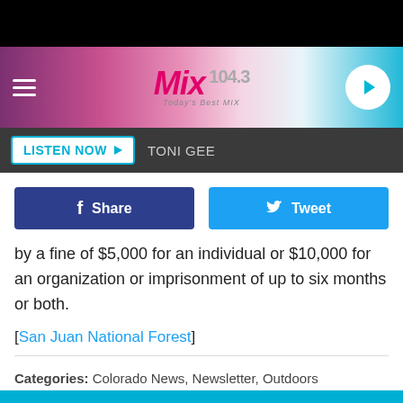[Figure (logo): Mix 104.3 radio station logo with pink/teal gradient header, hamburger menu icon, play button circle on right]
[Figure (screenshot): Listen Now button with play arrow and TONI GEE text on dark bar]
[Figure (screenshot): Facebook Share button (dark blue) and Twitter Tweet button (light blue)]
by a fine of $5,000 for an individual or $10,000 for an organization or imprisonment of up to six months or both.
[San Juan National Forest]
Categories: Colorado News, Newsletter, Outdoors
Comments
LEAVE A COMMENT